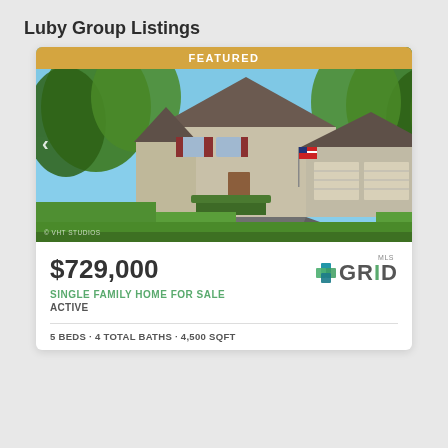Luby Group Listings
[Figure (photo): Featured real estate listing photo showing a two-story single family home with beige siding, red shutters, three-car garage, American flag, and lush green landscaping with trees and lawn. A FEATURED banner appears at the top of the image in gold.]
$729,000
SINGLE FAMILY HOME FOR SALE
ACTIVE
[Figure (logo): MLS GRID logo — cube icon in blue and green with text MLS GRID]
5 BEDS · 4 TOTAL BATHS · 4,500 SQFT